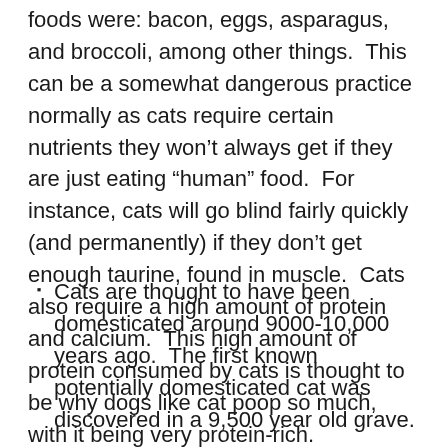foods were: bacon, eggs, asparagus, and broccoli, among other things.  This can be a somewhat dangerous practice normally as cats require certain nutrients they won't always get if they are just eating “human” food.  For instance, cats will go blind fairly quickly (and permanently) if they don't get enough taurine, found in muscle.  Cats also require a high amount of protein and calcium.  This high amount of protein consumed by cats is thought to be why dogs like cat poop so much, with it being very protein-rich.
Cats are thought to have been domesticated around 9000-10,000 years ago.  The first known potentially domesticated cat was discovered in a 9,500 year old grave.
Both cats and dogs are commonly eaten in certain parts of the world.  For instance, in